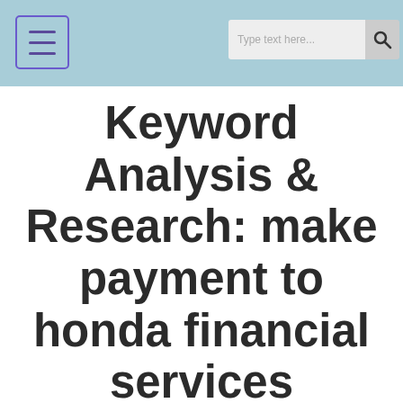Keyword Analysis & Research: make payment to honda financial services